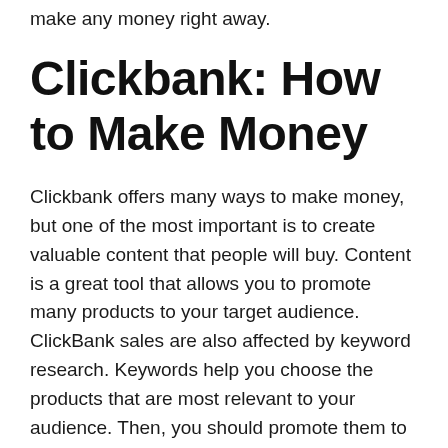make any money right away.
Clickbank: How to Make Money
Clickbank offers many ways to make money, but one of the most important is to create valuable content that people will buy. Content is a great tool that allows you to promote many products to your target audience. ClickBank sales are also affected by keyword research. Keywords help you choose the products that are most relevant to your audience. Then, you should promote them to attract visitors.
There are two main ways to earn cash with